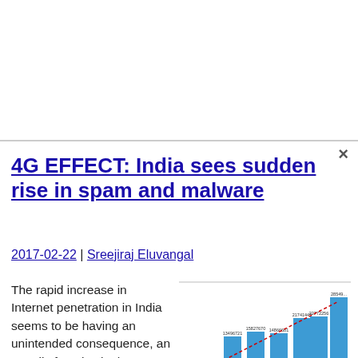4G EFFECT: India sees sudden rise in spam and malware
2017-02-22 | Sreejiraj Eluvangal
The rapid increase in Internet penetration in India seems to be having an unintended consequence, an equally fast rise in the instance of spam originating in the country. According to Kaspersky Lab's annual spam report, India and Vietnam were almost tied for second place in terms of the number of spam emails sent
[Figure (bar-chart): Bar chart showing quantity of malicious spam emails month by month in 2016 with a red dashed trend line]
uantity of malicious spam emails, 2016